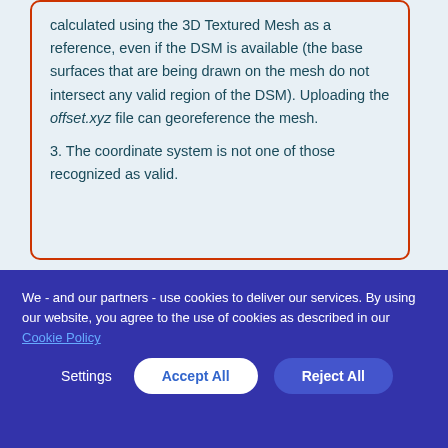calculated using the 3D Textured Mesh as a reference, even if the DSM is available (the base surfaces that are being drawn on the mesh do not intersect any valid region of the DSM). Uploading the offset.xyz file can georeference the mesh.
3. The coordinate system is not one of those recognized as valid.
We - and our partners - use cookies to deliver our services. By using our website, you agree to the use of cookies as described in our Cookie Policy